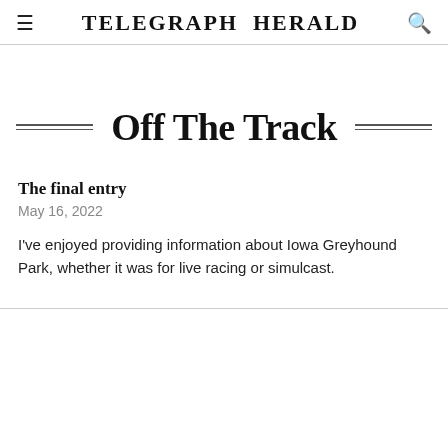TELEGRAPH HERALD
Off The Track
The final entry
May 16, 2022
I've enjoyed providing information about Iowa Greyhound Park, whether it was for live racing or simulcast.